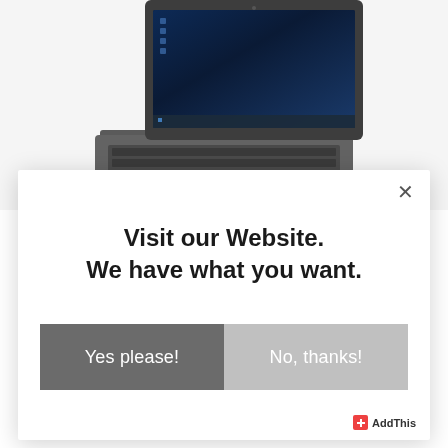[Figure (photo): Lenovo laptop with dark screen showing Windows desktop, gray keyboard and trackpad, photographed from slightly above on white background]
[Figure (screenshot): Modal popup dialog with white background, close X button, bold headline text, and two side-by-side buttons: dark gray 'Yes please!' and light gray 'No, thanks!']
Visit our Website.
We have what you want.
Yes please!
No, thanks!
AddThis